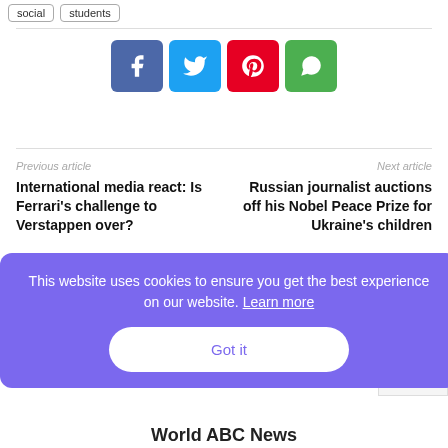social   students
[Figure (infographic): Four social share buttons: Facebook (blue), Twitter (cyan), Pinterest (red), WhatsApp (green)]
Previous article
International media react: Is Ferrari's challenge to Verstappen over?
Next article
Russian journalist auctions off his Nobel Peace Prize for Ukraine's children
This website uses cookies to ensure you get the best experience on our website. Learn more
Got it
World ABC News